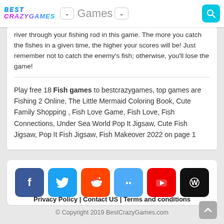BEST CRAZYGAMES | Games
river through your fishing rod in this game. The more you catch the fishes in a given time, the higher your scores will be! Just remember not to catch the enemy's fish; otherwise, you'll lose the game!
Play free 18 Fish games to bestcrazygames, top games are Fishing 2 Online, The Little Mermaid Coloring Book, Cute Family Shopping , Fish Love Game, Fish Love, Fish Connections, Under Sea World Pop It Jigsaw, Cute Fish Jigsaw, Pop It Fish Jigsaw, Fish Makeover 2022 on page 1
[Figure (infographic): Social media icon buttons: Facebook (dark blue), Twitter (light blue), Reddit (orange-red), Discord (light blue), YouTube (red), WordPress (black)]
Privacy Policy | Contact US | Terms and conditions
© Copyright 2019 BestCrazyGames.com